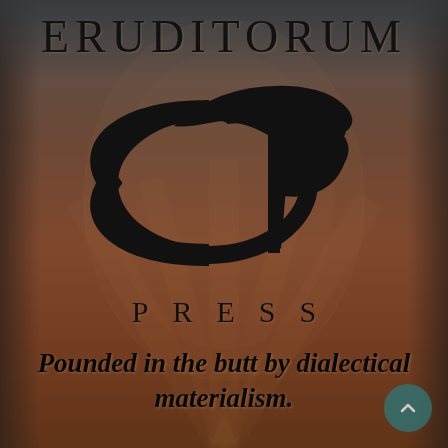[Figure (logo): Eruditorum Press logo page with stylized 'EP' script logo on a dark reddish-brown background with a fantasy figure illustration behind it]
ERUDITORUM
PRESS
Pounded in the butt by dialectical materialism.